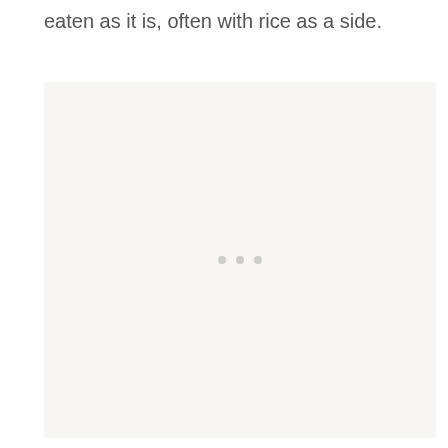eaten as it is, often with rice as a side.
[Figure (photo): Large image placeholder with a light beige/gray background and three small loading dots centered in the middle, indicating an image that has not loaded yet.]